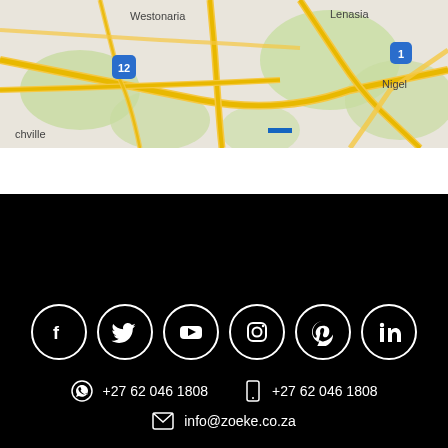[Figure (map): Google Maps view showing Westonaria, Lenasia, Nigel, Suikerbosrand area near Johannesburg, South Africa. Roads 12 and 1 visible.]
Social icons: Facebook, Twitter, YouTube, Instagram, Pinterest, LinkedIn
WhatsApp: +27 62 046 1808   Phone: +27 62 046 1808
info@zoeke.co.za